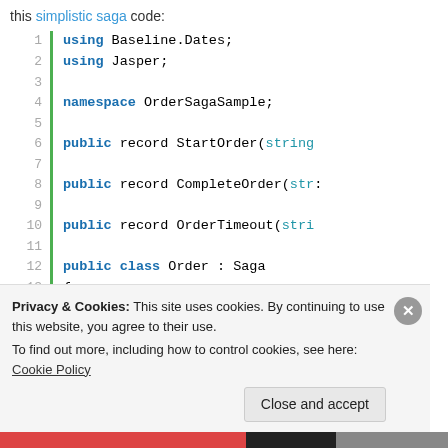this simplistic saga code:
[Figure (screenshot): Code block showing C# code with line numbers 1-15, green vertical bar on left. Lines show: using Baseline.Dates; using Jasper; namespace OrderSagaSample; public record StartOrder(string ...; public record CompleteOrder(str...; public record OrderTimeout(stri...; public class Order : Saga; { public string? Id { get; se...]
Privacy & Cookies: This site uses cookies. By continuing to use this website, you agree to their use.
To find out more, including how to control cookies, see here: Cookie Policy